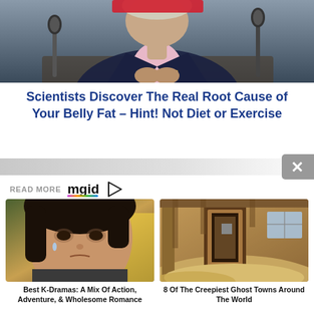[Figure (photo): Person in dark blazer and pink shirt at a microphone, speaking or being interviewed, with studio/podcast setup visible]
Scientists Discover The Real Root Cause of Your Belly Fat – Hint! Not Diet or Exercise
READ MORE mgid
[Figure (photo): Close-up of an Asian woman with tears, dramatic expression, from a K-Drama]
Best K-Dramas: A Mix Of Action, Adventure, & Wholesome Romance
[Figure (photo): Interior of an abandoned desert building with sand drifted inside, doorway and window visible]
8 Of The Creepiest Ghost Towns Around The World